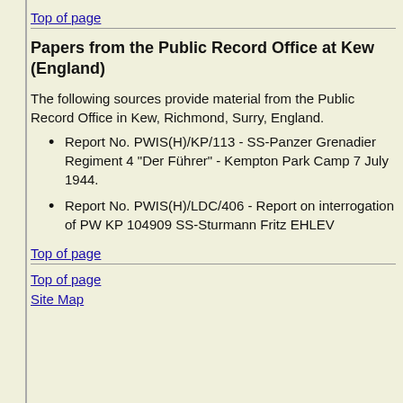Top of page
Papers from the Public Record Office at Kew (England)
The following sources provide material from the Public Record Office in Kew, Richmond, Surry, England.
Report No. PWIS(H)/KP/113 - SS-Panzer Grenadier Regiment 4 "Der Führer" - Kempton Park Camp 7 July 1944.
Report No. PWIS(H)/LDC/406 - Report on interrogation of PW KP 104909 SS-Sturmann Fritz EHLEV
Top of page
Top of page
Site Map